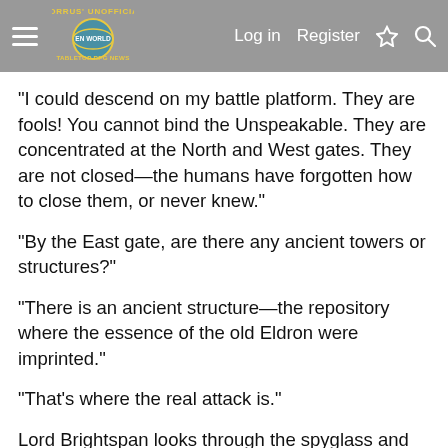Morrus' Unofficial Tabletop RPG News | Log in | Register
"I could descend on my battle platform. They are fools! You cannot bind the Unspeakable. They are concentrated at the North and West gates. They are not closed—the humans have forgotten how to close them, or never knew."
"By the East gate, are there any ancient towers or structures?"
"There is an ancient structure—the repository where the essence of the old Eldron were imprinted."
"That's where the real attack is."
Lord Brightspan looks through the spyglass and reports that there is a hidden army there, creeping forward. The elves